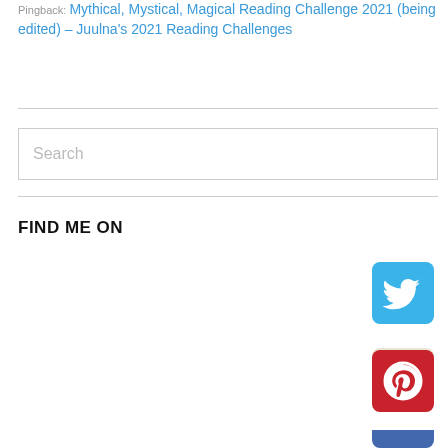Pingback: Mythical, Mystical, Magical Reading Challenge 2021 (being edited) – Juulna's 2021 Reading Challenges
Search
FIND ME ON
[Figure (logo): Twitter social media icon – blue square with white bird]
[Figure (logo): Goodreads icon – beige/tan square with lowercase g]
[Figure (logo): Pinterest icon – red square with white P]
[Figure (logo): Facebook icon – partially visible blue square at bottom of page]